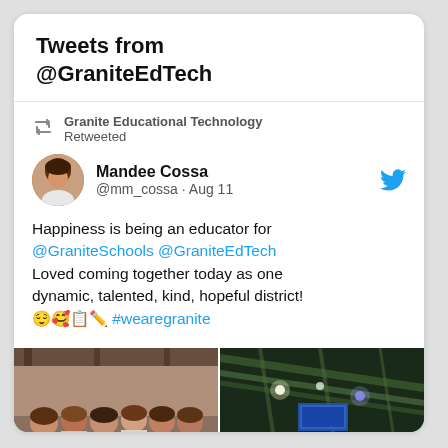Tweets from @GraniteEdTech
Granite Educational Technology Retweeted
Mandee Cossa @mm_cossa · Aug 11
Happiness is being an educator for @GraniteSchools @GraniteEdTech Loved coming together today as one dynamic, talented, kind, hopeful district! 😌🥰📋✏️ #wearegranite
[Figure (photo): Two side-by-side photos: left shows a group of women posing together indoors, right shows a large indoor arena or auditorium with lights and a crowd.]